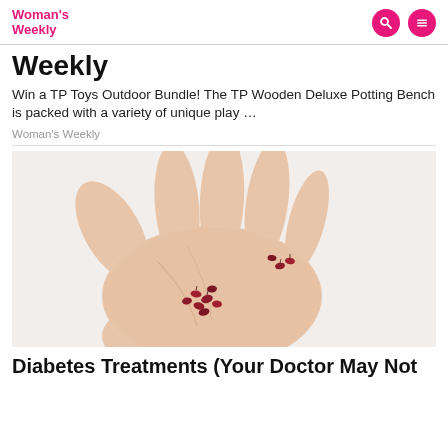Woman's Weekly
Weekly
Win a TP Toys Outdoor Bundle! The TP Wooden Deluxe Potting Bench is packed with a variety of unique play …
Woman's Weekly
[Figure (photo): A human hand held open, palm up, with several small dark red/maroon berry-like objects scattered across the palm.]
Diabetes Treatments (Your Doctor May Not